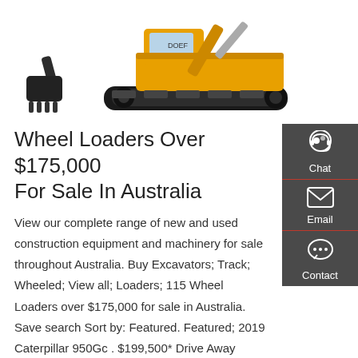[Figure (photo): Yellow and black tracked excavator / construction machinery on white background, shown from the side. Partial view with bucket attachment visible on the left.]
Wheel Loaders Over $175,000 For Sale In Australia
View our complete range of new and used construction equipment and machinery for sale throughout Australia. Buy Excavators; Track; Wheeled; View all; Loaders; 115 Wheel Loaders over $175,000 for sale in Australia. Save search Sort by: Featured. Featured; 2019 Caterpillar 950Gc . $199,500* Drive Away $199,500* Excl. Govt. Charges.
[Figure (infographic): Dark grey sidebar panel with three icons and labels: Chat (headset icon), Email (envelope icon), Contact (speech bubble with dots icon). Separated by red horizontal lines.]
Get a quote